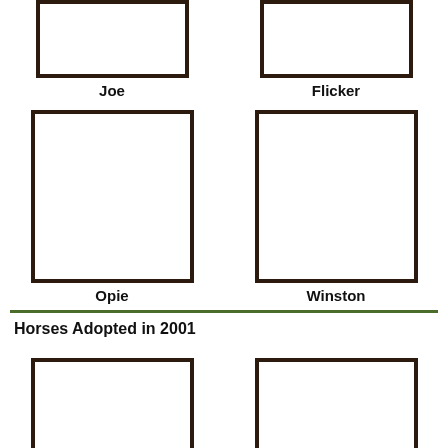[Figure (illustration): Empty square box placeholder for horse photo labeled Joe]
Joe
[Figure (illustration): Empty square box placeholder for horse photo labeled Flicker]
Flicker
[Figure (illustration): Empty square box placeholder for horse photo labeled Opie]
Opie
[Figure (illustration): Empty square box placeholder for horse photo labeled Winston]
Winston
Horses Adopted in 2001
[Figure (illustration): Empty square box placeholder for horse photo (partially visible, bottom left)]
[Figure (illustration): Empty square box placeholder for horse photo (partially visible, bottom right)]